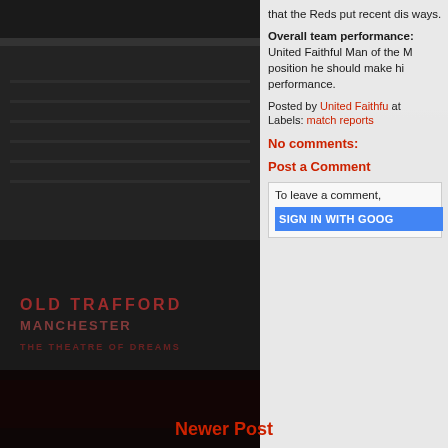[Figure (photo): Old Trafford stadium background image with dark overlay, showing stands and crowd. Text 'OLD TRAFFORD MANCHESTER' visible in red on stadium exterior, and 'THE THEATRE OF DREAMS' below it.]
that the Reds put recent dis... ways.
Overall team performance: United Faithful Man of the M... position he should make hi... performance.
Posted by United Faithfu at Labels: match reports
No comments:
Post a Comment
To leave a comment,
SIGN IN WITH GOOG...
Newer Post